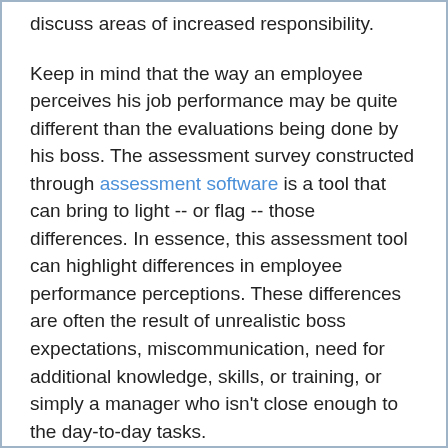discuss areas of increased responsibility.
Keep in mind that the way an employee perceives his job performance may be quite different than the evaluations being done by his boss. The assessment survey constructed through assessment software is a tool that can bring to light -- or flag -- those differences. In essence, this assessment tool can highlight differences in employee performance perceptions. These differences are often the result of unrealistic boss expectations, miscommunication, need for additional knowledge, skills, or training, or simply a manager who isn't close enough to the day-to-day tasks.
Therefore, the employee self-assessment evaluation not only enables the employee to inform management of additional training or resources needed to improve her performance, but helps the worker to be more in control